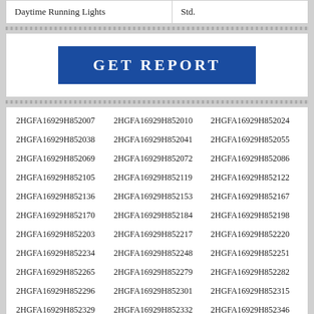| Daytime Running Lights | Std. |
GET REPORT
2HGFA16929H852007
2HGFA16929H852010
2HGFA16929H852024
2HGFA16929H852038
2HGFA16929H852041
2HGFA16929H852055
2HGFA16929H852069
2HGFA16929H852072
2HGFA16929H852086
2HGFA16929H852105
2HGFA16929H852119
2HGFA16929H852122
2HGFA16929H852136
2HGFA16929H852153
2HGFA16929H852167
2HGFA16929H852170
2HGFA16929H852184
2HGFA16929H852198
2HGFA16929H852203
2HGFA16929H852217
2HGFA16929H852220
2HGFA16929H852234
2HGFA16929H852248
2HGFA16929H852251
2HGFA16929H852265
2HGFA16929H852279
2HGFA16929H852282
2HGFA16929H852296
2HGFA16929H852301
2HGFA16929H852315
2HGFA16929H852329
2HGFA16929H852332
2HGFA16929H852346